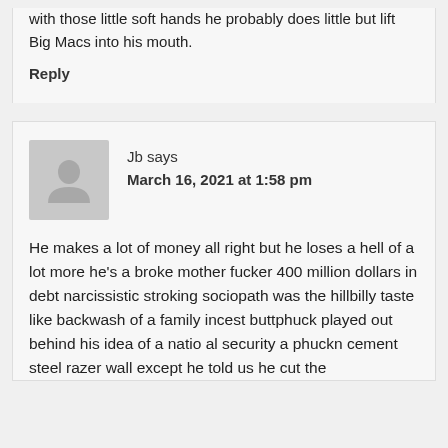with those little soft hands he probably does little but lift Big Macs into his mouth.
Reply
Jb says
March 16, 2021 at 1:58 pm
[Figure (illustration): Default user avatar - grey silhouette of a person on grey background]
He makes a lot of money all right but he loses a hell of a lot more he's a broke mother fucker 400 million dollars in debt narcissistic stroking sociopath was the hillbilly taste like backwash of a family incest buttphuck played out behind his idea of a natio al security a phuckn cement steel razer wall except he told us he cut the